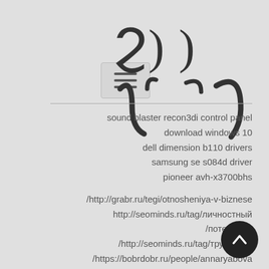[Figure (other): Hamburger menu button icon with three horizontal lines]
[Figure (logo): Stylized logo mark with curved bracket-like characters]
sound blaster recon3di control panel download windows 10
dell dimension b110 drivers
samsung se s084d driver
pioneer avh-x3700bhs
/http://grabr.ru/tegi/otnosheniya-v-biznese
http://seominds.ru/tag/личностный
/потенциал
/http://seominds.ru/tag/трудности
/https://bobrdobr.ru/people/annaryabova
/http://grabr.ru/tegi/sotrudnichestvo-v-biznese
/http://seominds.ru/tag/видеообучение
http://grabr.ru/content/kak-gramotno-sebya-
/istratit-ili-kuda-ukhodyat-nashi-sily
[Figure (other): Dark circular back-to-top button with upward chevron arrow]